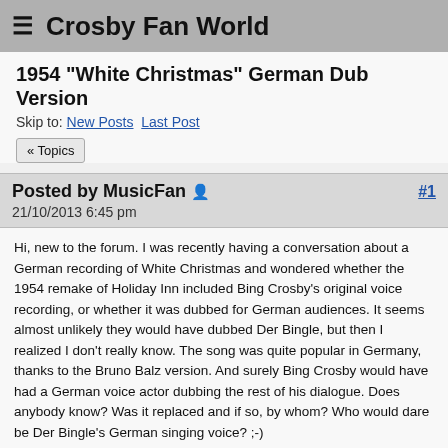≡ Crosby Fan World
1954 "White Christmas" German Dub Version
Skip to: New Posts  Last Post
« Topics
Posted by MusicFan 🧑 #1
21/10/2013 6:45 pm
Hi, new to the forum. I was recently having a conversation about a German recording of White Christmas and wondered whether the 1954 remake of Holiday Inn included Bing Crosby's original voice recording, or whether it was dubbed for German audiences. It seems almost unlikely they would have dubbed Der Bingle, but then I realized I don't really know. The song was quite popular in Germany, thanks to the Bruno Balz version. And surely Bing Crosby would have had a German voice actor dubbing the rest of his dialogue. Does anybody know? Was it replaced and if so, by whom? Who would dare be Der Bingle's German singing voice? ;-)
Thanks!